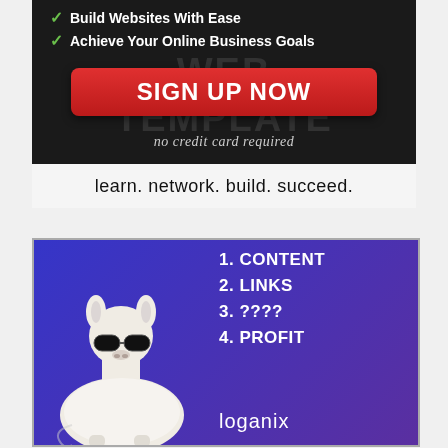[Figure (infographic): Dark background web hosting ad with green checkmarks listing 'Build Websites With Ease' and 'Achieve Your Online Business Goals', a red 'SIGN UP NOW' button, 'no credit card required' text, and tagline 'learn. network. build. succeed.']
[Figure (infographic): Blue/purple gradient ad for Loganix with a cartoon llama wearing sunglasses on the left and a numbered list: 1. CONTENT, 2. LINKS, 3. ????, 4. PROFIT, with Loganix branding at the bottom.]